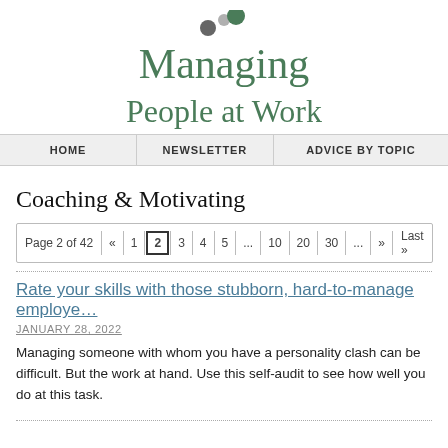[Figure (logo): Managing People at Work logo with decorative dots above the M in Managing]
HOME | NEWSLETTER | ADVICE BY TOPIC
Coaching & Motivating
Page 2 of 42  «  1  2  3  4  5  ...  10  20  30  ...  »  Last »
Rate your skills with those stubborn, hard-to-manage employees
JANUARY 28, 2022
Managing someone with whom you have a personality clash can be difficult. But the work at hand. Use this self-audit to see how well you do at this task.